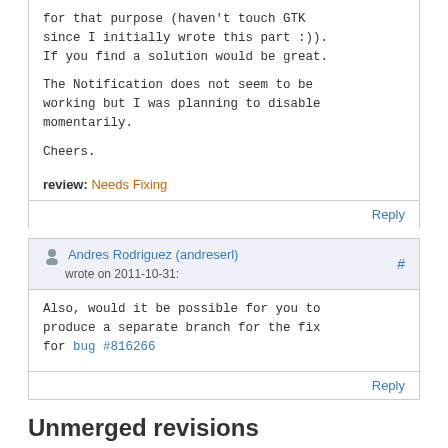for that purpose (haven't touch GTK since I initially wrote this part :)). If you find a solution would be great.

The Notification does not seem to be working but I was planning to disable momentarily.

Cheers.
review: Needs Fixing
Reply
Andres Rodriguez (andreserl) wrote on 2011-10-31:
Also, would it be possible for you to produce a separate branch for the fix for bug #816266
Reply
Unmerged revisions
364 By Jeremy Bicha on 2011-08-23